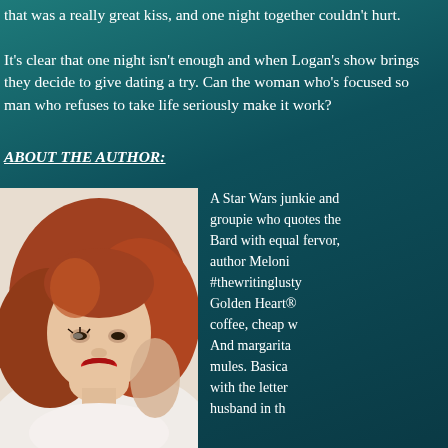that was a really great kiss, and one night together couldn't hurt. It's clear that one night isn't enough and when Logan's show brings they decide to give dating a try. Can the woman who's focused so man who refuses to take life seriously make it work?
ABOUT THE AUTHOR:
[Figure (photo): Portrait photo of a woman with red curly hair, red lips, smiling, wearing a white top, posed with hand behind head]
A Star Wars junkie and groupie who quotes the Bard with equal fervor, author Meloni #thewritinglusty Golden Heart® coffee, cheap w And margarita mules. Basica with the letter husband in th